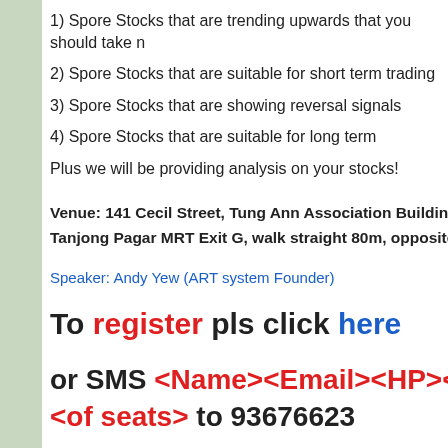1) Spore Stocks that are trending upwards that you should take n
2) Spore Stocks that are suitable for short term trading
3) Spore Stocks that are showing reversal signals
4) Spore Stocks that are suitable for long term
Plus we will be providing analysis on your stocks!
Venue: 141 Cecil Street, Tung Ann Association Building #07-
Tanjong Pagar MRT Exit G, walk straight 80m, opposite the t
Speaker: Andy Yew (ART system Founder)
To register pls click here
or SMS <Name><Email><HP><Date> of seats> to 93676623